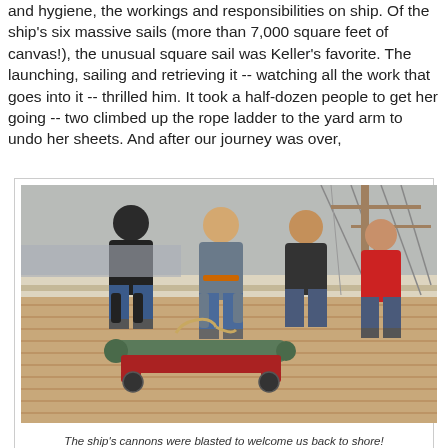and hygiene, the workings and responsibilities on ship. Of the ship's six massive sails (more than 7,000 square feet of canvas!), the unusual square sail was Keller's favorite. The launching, sailing and retrieving it -- watching all the work that goes into it -- thrilled him. It took a half-dozen people to get her going -- two climbed up the rope ladder to the yard arm to undo her sheets. And after our journey was over,
[Figure (photo): Several crew members working on the deck of a tall ship, handling a cannon on a wheeled mount. The wooden deck is visible, and rigging can be seen in the background.]
The ship's cannons were blasted to welcome us back to shore! Nothing is boring aboard the Californian.